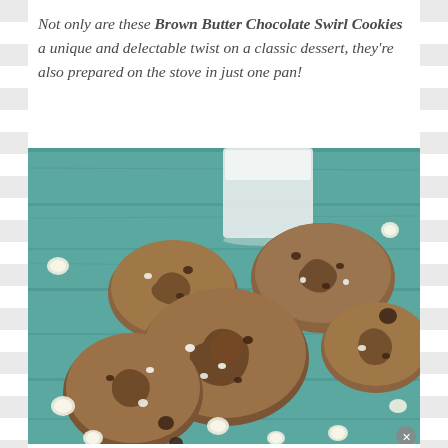Not only are these Brown Butter Chocolate Swirl Cookies a unique and delectable twist on a classic dessert, they're also prepared on the stove in just one pan!
[Figure (photo): A close-up photograph of Brown Butter Chocolate Swirl Cookies piled on a teal/turquoise painted wooden surface, surrounded by scattered white and dark chocolate chips. The cookies have a swirled brown and light coloring with visible chocolate chips throughout.]